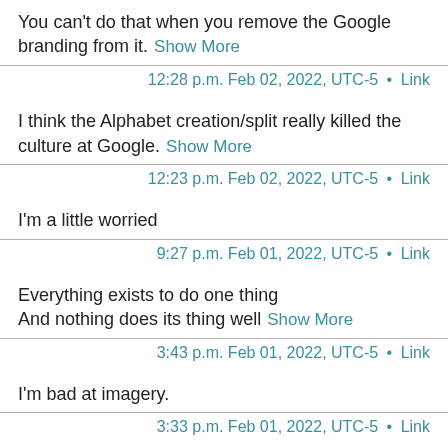You can't do that when you remove the Google branding from it.  Show More
12:28 p.m. Feb 02, 2022, UTC-5 • Link
I think the Alphabet creation/split really killed the culture at Google.  Show More
12:23 p.m. Feb 02, 2022, UTC-5 • Link
I'm a little worried
9:27 p.m. Feb 01, 2022, UTC-5 • Link
Everything exists to do one thing
And nothing does its thing well  Show More
3:43 p.m. Feb 01, 2022, UTC-5 • Link
I'm bad at imagery.
3:33 p.m. Feb 01, 2022, UTC-5 • Link